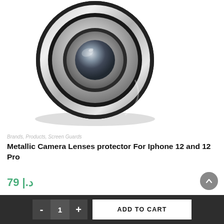[Figure (photo): Metallic camera lens protector ring shown in silver and black, viewed from front at an angle, with shadow beneath on white background]
Brands, Products, Screen Guards
Metallic Camera Lenses protector For Iphone 12 and 12 Pro
79 |.د
- 1 + ADD TO CART